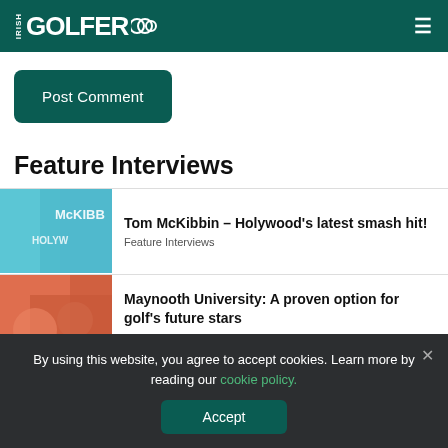IRISH GOLFER
Post Comment
Feature Interviews
Tom McKibbin – Holywood's latest smash hit!
Feature Interviews
Maynooth University: A proven option for golf's future stars
Feature Interviews
By using this website, you agree to accept cookies. Learn more by reading our cookie policy.
Accept